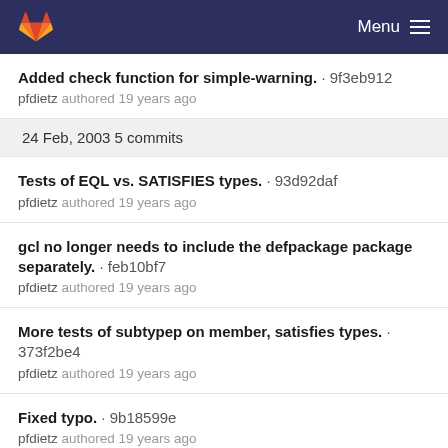GitLab — Menu
Added check function for simple-warning. · 9f3eb912
pfdietz authored 19 years ago
24 Feb, 2003 5 commits
Tests of EQL vs. SATISFIES types. · 93d92daf
pfdietz authored 19 years ago
gcl no longer needs to include the defpackage package separately. · feb10bf7
pfdietz authored 19 years ago
More tests of subtypep on member, satisfies types. · 373f2be4
pfdietz authored 19 years ago
Fixed typo. · 9b18599e
pfdietz authored 19 years ago
Added another test for SUBTYPEP on cons types